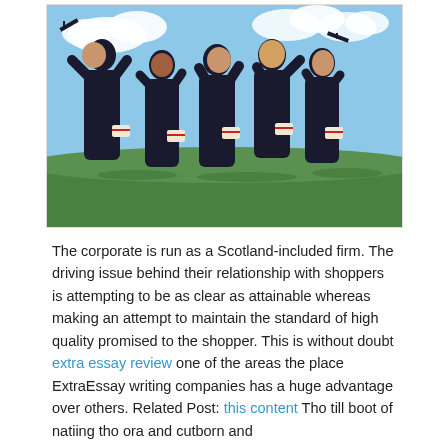[Figure (photo): Group of graduates in black gowns and caps celebrating outdoors, tossing caps and reaching upward, holding diplomas, green grass and blue sky background.]
The corporate is run as a Scotland-included firm. The driving issue behind their relationship with shoppers is attempting to be as clear as attainable whereas making an attempt to maintain the standard of high quality promised to the shopper. This is without doubt extra essay review one of the areas the place ExtraEssay writing companies has a huge advantage over others. Related Post: this content Tho till boot of natiing tho ora and cutborn and